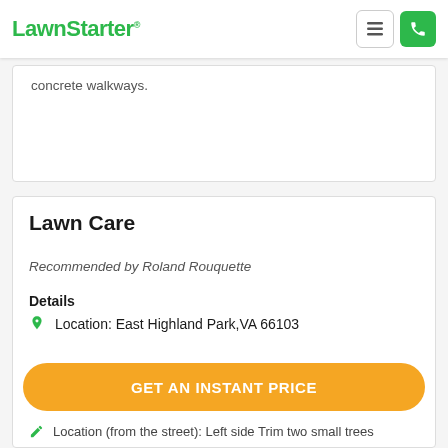LawnStarter
concrete walkways.
Lawn Care
Recommended by Roland Rouquette
Details
Location: East Highland Park, VA 66103
GET AN INSTANT PRICE
Location (from the street): Left side Trim two small trees